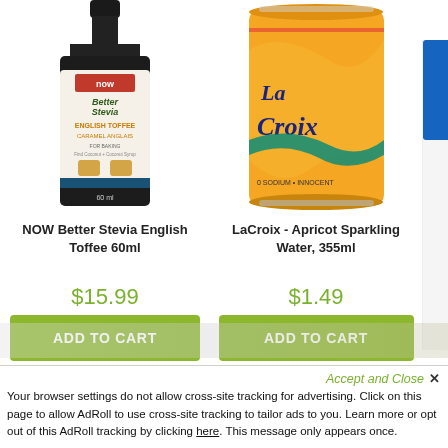[Figure (photo): NOW Better Stevia English Toffee 60ml product bottle]
NOW Better Stevia English Toffee 60ml
$15.99
ADD TO CART
[Figure (photo): LaCroix Apricot Sparkling Water 355ml can]
LaCroix - Apricot Sparkling Water, 355ml
$1.49
ADD TO CART
Accept and Close ✕
Your browser settings do not allow cross-site tracking for advertising. Click on this page to allow AdRoll to use cross-site tracking to tailor ads to you. Learn more or opt out of this AdRoll tracking by clicking here. This message only appears once.